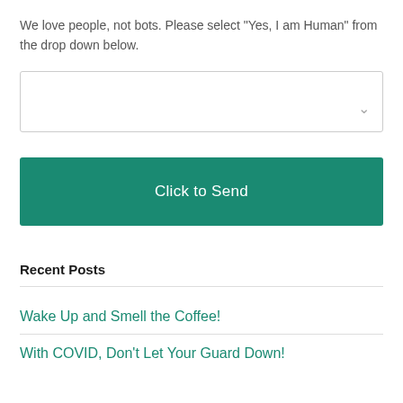We love people, not bots. Please select "Yes, I am Human" from the drop down below.
[Figure (screenshot): Dropdown select box with a chevron arrow on the right side]
[Figure (screenshot): Teal 'Click to Send' button]
Recent Posts
Wake Up and Smell the Coffee!
With COVID, Don't Let Your Guard Down!